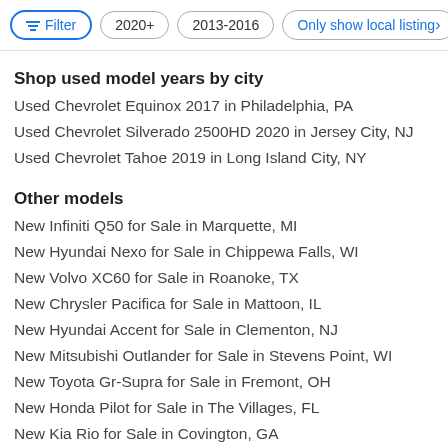Filter | 2020+ | 2013-2016 | Only show local listing›
Shop used model years by city
Used Chevrolet Equinox 2017 in Philadelphia, PA
Used Chevrolet Silverado 2500HD 2020 in Jersey City, NJ
Used Chevrolet Tahoe 2019 in Long Island City, NY
Other models
New Infiniti Q50 for Sale in Marquette, MI
New Hyundai Nexo for Sale in Chippewa Falls, WI
New Volvo XC60 for Sale in Roanoke, TX
New Chrysler Pacifica for Sale in Mattoon, IL
New Hyundai Accent for Sale in Clementon, NJ
New Mitsubishi Outlander for Sale in Stevens Point, WI
New Toyota Gr-Supra for Sale in Fremont, OH
New Honda Pilot for Sale in The Villages, FL
New Kia Rio for Sale in Covington, GA
New Chevrolet Trailblazer for Sale in Azle, TX